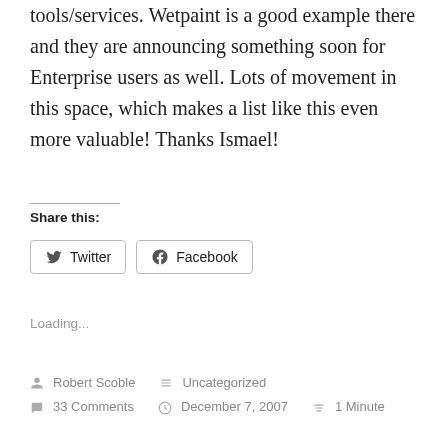tools/services. Wetpaint is a good example there and they are announcing something soon for Enterprise users as well. Lots of movement in this space, which makes a list like this even more valuable! Thanks Ismael!
Share this:
Twitter
Facebook
Loading...
Robert Scoble   Uncategorized   33 Comments   December 7, 2007   1 Minute